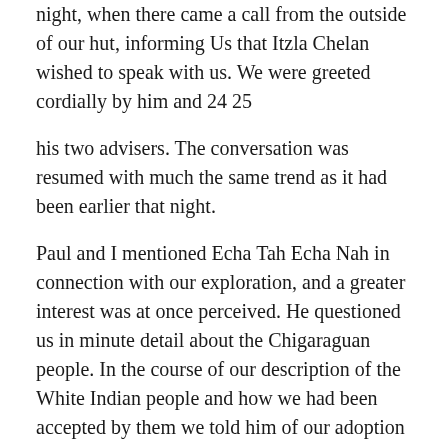night, when there came a call from the outside of our hut, informing Us that Itzla Chelan wished to speak with us. We were greeted cordially by him and 24 25
his two advisers. The conversation was resumed with much the same trend as it had been earlier that night.
Paul and I mentioned Echa Tah Echa Nah in connection with our exploration, and a greater interest was at once perceived. He questioned us in minute detail about the Chigaraguan people. In the course of our description of the White Indian people and how we had been accepted by them we told him of our adoption into the tribe and our invitation to return to the Chigaraguan people any time we so desired.
It was then be agreed to explain about the Golden Library in minute detail. Giving us his promise to return the next night and tell us his story, we all retired. Paul and I were so highly elated that we had to awaken the other members of the expedition. We gleefully